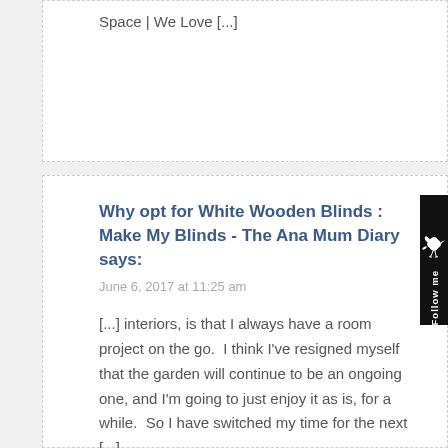Space | We Love [...]
Why opt for White Wooden Blinds : Make My Blinds - The Ana Mum Diary says:
June 6, 2017 at 11:25 am
[...] interiors, is that I always have a room project on the go.  I think I've resigned myself that the garden will continue to be an ongoing one, and I'm going to just enjoy it as is, for a while.  So I have switched my time for the next [...]